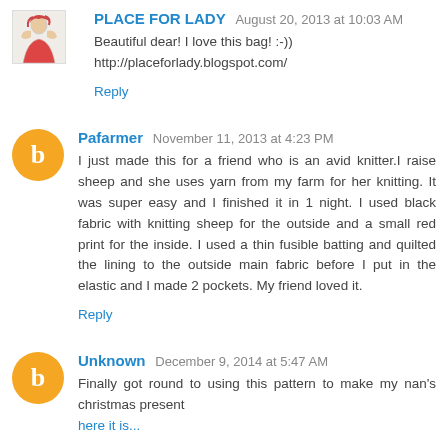PLACE FOR LADY  August 20, 2013 at 10:03 AM
Beautiful dear! I love this bag! :-)))
http://placeforlady.blogspot.com/
Reply
Pafarmer  November 11, 2013 at 4:23 PM
I just made this for a friend who is an avid knitter.I raise sheep and she uses yarn from my farm for her knitting. It was super easy and I finished it in 1 night. I used black fabric with knitting sheep for the outside and a small red print for the inside. I used a thin fusible batting and quilted the lining to the outside main fabric before I put in the elastic and I made 2 pockets. My friend loved it.
Reply
Unknown  December 9, 2014 at 5:47 AM
Finally got round to using this pattern to make my nan's christmas present
here it is...